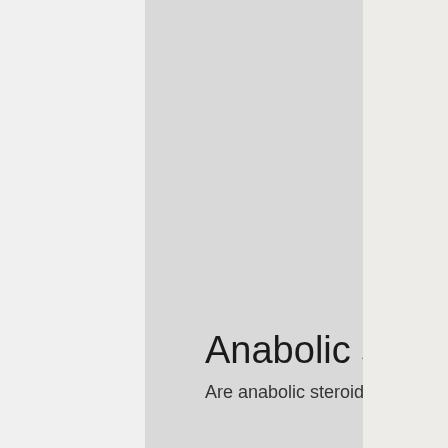[Figure (other): Hamburger menu icon inside a circle, positioned near top-right of the main content area]
Anabolic steroids for sale in china
Are anabolic steroids legal in china All